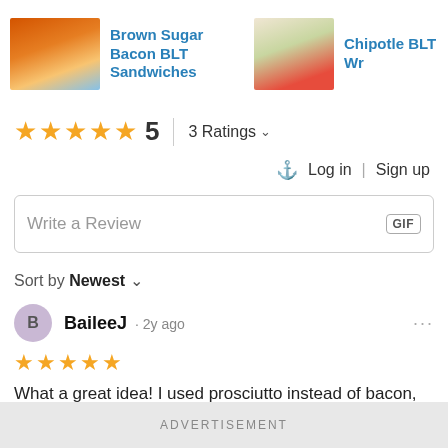[Figure (screenshot): Carousel with two recipe thumbnails: 'Brown Sugar Bacon BLT Sandwiches' and 'Chipotle BLT Wr[aps]' with a right arrow button]
★★★★★ 5  |  3 Ratings ˅
🔔  Log in  |  Sign up
Write a Review   GIF
Sort by Newest ˅
BaileeJ · 2y ago
★★★★★
What a great idea! I used prosciutto instead of bacon, and I cooked the tomatoes/arugula in the pan for a few minutes that I'd fried the
ADVERTISEMENT